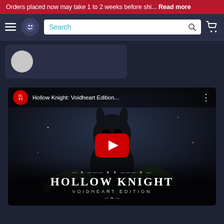Orders placed now may take 1 to 2 weeks before shi... Read more
[Figure (screenshot): Navigation bar with hamburger menu, app logo icon, search bar, and shopping cart icon]
[Figure (screenshot): Profile card area with avatar circle on dark background]
[Figure (screenshot): YouTube-style video thumbnail for Hollow Knight: Voidheart Edition showing a dark stylized character, YouTube play button, and game title overlay reading HOLLOW KNIGHT VOIDHEART EDITION]